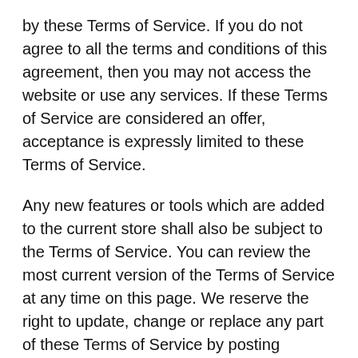by these Terms of Service. If you do not agree to all the terms and conditions of this agreement, then you may not access the website or use any services. If these Terms of Service are considered an offer, acceptance is expressly limited to these Terms of Service.
Any new features or tools which are added to the current store shall also be subject to the Terms of Service. You can review the most current version of the Terms of Service at any time on this page. We reserve the right to update, change or replace any part of these Terms of Service by posting updates and/or changes to our website. It is your responsibility to check this page periodically for changes. Your continued use of or access to the website following the posting of any changes constitutes acceptance of those changes.